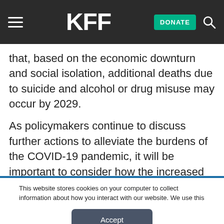KFF — DONATE — Search
that, based on the economic downturn and social isolation, additional deaths due to suicide and alcohol or drug misuse may occur by 2029.
As policymakers continue to discuss further actions to alleviate the burdens of the COVID-19 pandemic, it will be important to consider how the increased need for mental health and
This website stores cookies on your computer to collect information about how you interact with our website. We use this information in order to improve and customize your browsing experience and for analytics and metrics about our visitors both on this website and other media. To find out more about the cookies we use, see our Privacy Policy.
Accept